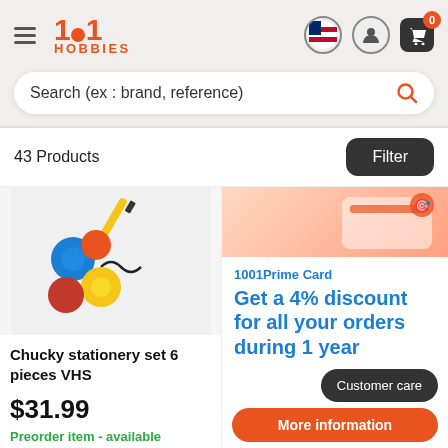[Figure (logo): 1001 Hobbies logo in orange with hamburger menu icon]
Search (ex : brand, reference)
43 Products
Filter
[Figure (photo): Chucky stationery set product image showing pins/badges and a pen]
Chucky stationery set 6 pieces VHS
$31.99
Preorder item - available
[Figure (illustration): 1001Prime Card promotional banner with orange/pink gradient top]
1001Prime Card
Get a 4% discount for all your orders during 1 year
Customer care
More information